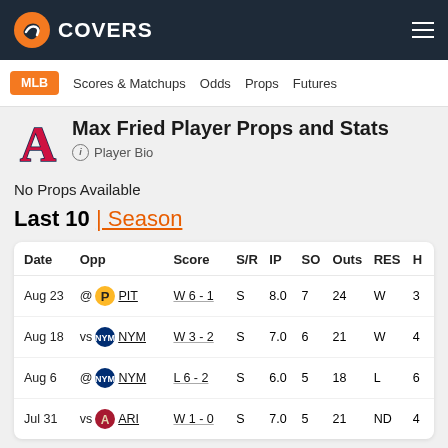COVERS
MLB  Scores & Matchups  Odds  Props  Futures
Max Fried Player Props and Stats
ⓘ Player Bio
No Props Available
Last 10 | Season
| Date | Opp | Score | S/R | IP | SO | Outs | RES | H |
| --- | --- | --- | --- | --- | --- | --- | --- | --- |
| Aug 23 | @ PIT | W 6 - 1 | S | 8.0 | 7 | 24 | W | 3 |
| Aug 18 | vs NYM | W 3 - 2 | S | 7.0 | 6 | 21 | W | 4 |
| Aug 6 | @ NYM | L 6 - 2 | S | 6.0 | 5 | 18 | L | 6 |
| Jul 31 | vs ARI | W 1 - 0 | S | 7.0 | 5 | 21 | ND | 4 |